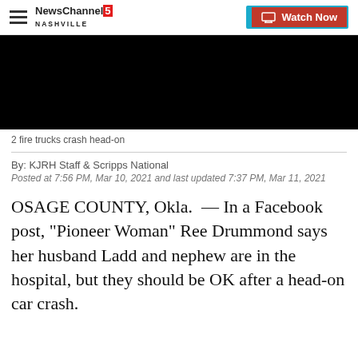NewsChannel 5 Nashville | Watch Now
[Figure (screenshot): Black video player thumbnail]
2 fire trucks crash head-on
By: KJRH Staff & Scripps National
Posted at 7:56 PM, Mar 10, 2021 and last updated 7:37 PM, Mar 11, 2021
OSAGE COUNTY, Okla.  — In a Facebook post, "Pioneer Woman" Ree Drummond says her husband Ladd and nephew are in the hospital, but they should be OK after a head-on car crash.